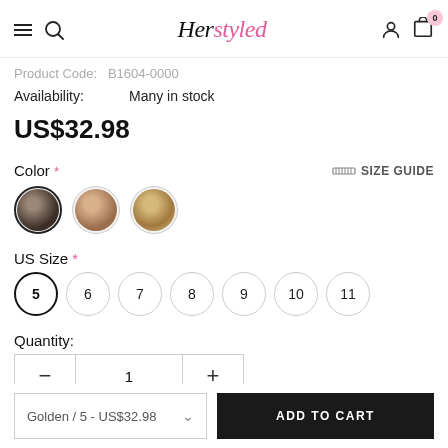Herstyled — navigation header with hamburger, search, logo, user icon, cart (0)
Product Code: B1604-0000
Availability: Many in stock
US$32.98
Color *
[Figure (other): Three circular color swatches for shoe variants: dark/black, nude/tan, golden]
US Size *
Size options: 5 (selected), 6, 7, 8, 9, 10, 11
Quantity:
Quantity control: minus, 1, plus
Golden / 5 - US$32.98
ADD TO CART